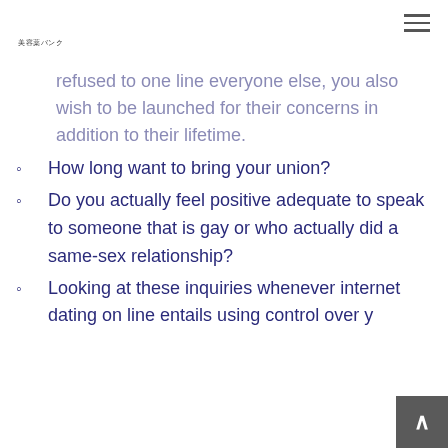美容薬バンク
...refused to one line everyone else, you also wish to be launched for their concerns in addition to their lifetime.
How long want to bring your union?
Do you actually feel positive adequate to speak to someone that is gay or who actually did a same-sex relationship?
Looking at these inquiries whenever internet dating on line entails using control over y...